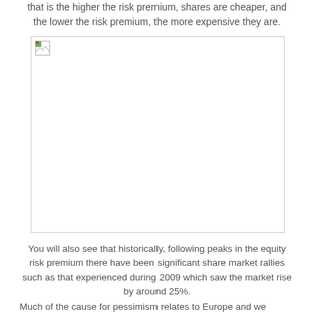that is the higher the risk premium, shares are cheaper, and the lower the risk premium, the more expensive they are.
[Figure (other): Broken/missing image placeholder representing a chart of equity risk premium]
You will also see that historically, following peaks in the equity risk premium there have been significant share market rallies such as that experienced during 2009 which saw the market rise by around 25%.
Much of the cause for pessimism relates to Europe and we